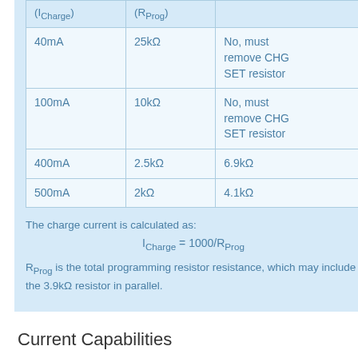| Current (ICharge) | Resistance (RProg) | Resistor |
| --- | --- | --- |
| 40mA | 25kΩ | No, must remove CHG SET resistor |
| 100mA | 10kΩ | No, must remove CHG SET resistor |
| 400mA | 2.5kΩ | 6.9kΩ |
| 500mA | 2kΩ | 4.1kΩ |
The charge current is calculated as:
RProg is the total programming resistor resistance, which may include the 3.9kΩ resistor in parallel.
Current Capabilities